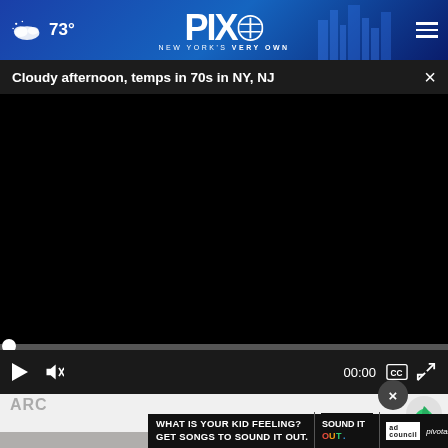PIX11 NEW YORK'S VERY OWN — 73°
Cloudy afternoon, temps in 70s in NY, NJ
[Figure (screenshot): Black video player area with playback controls: play button, mute button, 00:00 timestamp, captions button, fullscreen button, and progress bar]
[Figure (screenshot): Ad banner: WHAT IS YOUR KID FEELING? GET SONGS TO SOUND IT OUT. — Sound It Out / Ad Council / pivotal]
ARC